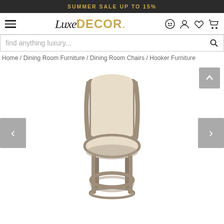SUMMER SALE UP TO 15%
[Figure (logo): LuxeDecor logo with hamburger menu and navigation icons (phone, account, wishlist, cart)]
find anything luxury...
Home / Dining Room Furniture / Dining Room Chairs / Hooker Furniture
[Figure (photo): Bar stool with cream/beige upholstered seat and back, weathered gray wood frame with turned legs and circular footrest, shown on white background. Navigation arrows on left and right, scroll-to-top button on right.]